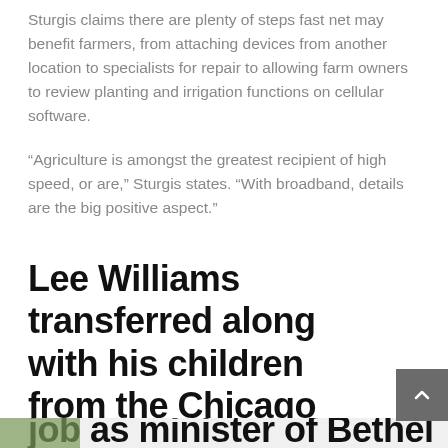Sturgis claims there are plenty of steps fast net may benefit farmers, from attaching devices from another location to specialists for repair to allowing farm owners to review planting and irrigation functions on cellular software.
“Agriculture is amongst the greatest recipient of high speed, or are,” Sturgis states. “With broadband, details are the big positive aspect.”
Lee Williams transferred along with his children from the Chicago suburbs six in years past to take a job as minister of Bethel